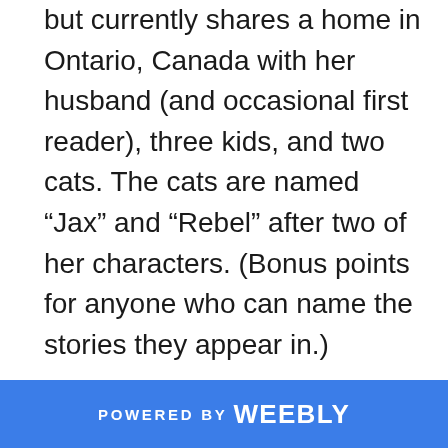but currently shares a home in Ontario, Canada with her husband (and occasional first reader), three kids, and two cats. The cats are named “Jax” and “Rebel” after two of her characters. (Bonus points for anyone who can name the stories they appear in.)
POWERED BY weebly